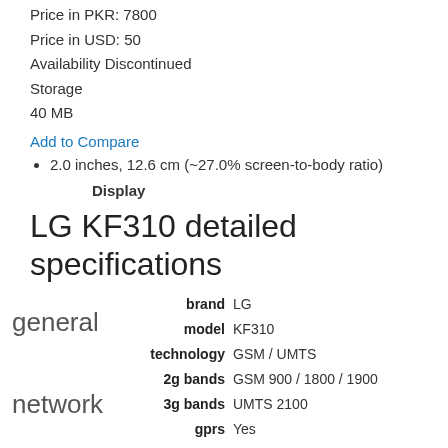Price in PKR: 7800
Price in USD: 50
Availability Discontinued
Storage
40 MB
Add to Compare
2.0 inches, 12.6 cm (~27.0% screen-to-body ratio)
Display
LG KF310 detailed specifications
| section | field | value |
| --- | --- | --- |
| general | brand | LG |
| general | model | KF310 |
| network | technology | GSM / UMTS |
| network | 2g bands | GSM 900 / 1800 / 1900 |
| network | 3g bands | UMTS 2100 |
| network | gprs | Yes |
| network | speed | Yes, 384 kbps |
|  | announced | 2008 |